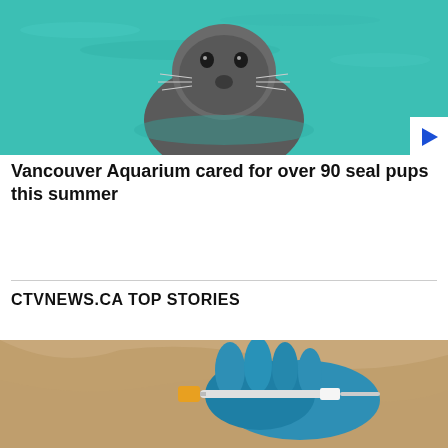[Figure (photo): A harbor seal looking upward from turquoise/teal water, with a play button in the bottom-right corner]
Vancouver Aquarium cared for over 90 seal pups this summer
CTVNEWS.CA TOP STORIES
[Figure (photo): Close-up of gloved hands (blue latex gloves) holding a syringe, medical/laboratory setting]